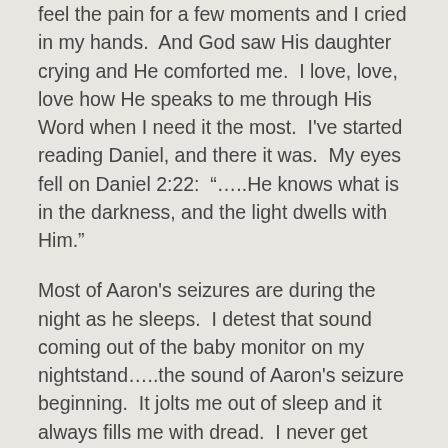feel the pain for a few moments and I cried in my hands.  And God saw His daughter crying and He comforted me.  I love, love, love how He speaks to me through His Word when I need it the most.  I've started reading Daniel, and there it was.  My eyes fell on Daniel 2:22:  “…..He knows what is in the darkness, and the light dwells with Him.”
Most of Aaron's seizures are during the night as he sleeps.  I detest that sound coming out of the baby monitor on my nightstand…..the sound of Aaron's seizure beginning.  It jolts me out of sleep and it always fills me with dread.  I never get used to that awful sound.  And the darkness.  Our room is dark, the hall is dimly lit, and Aaron's room is very dark.  I turn on his light, not knowing what I will see, and I stay with him until the seizure is over and I know he is safe